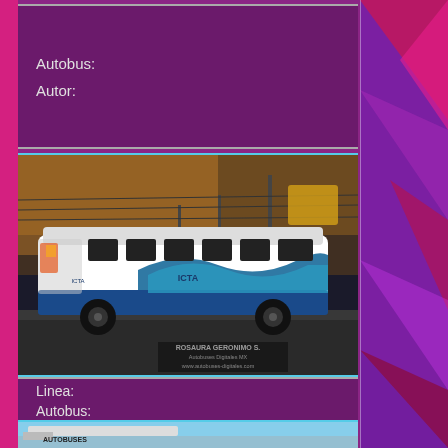Autobus:
Autor:
[Figure (photo): A large white intercity bus with blue and teal wave livery design, ICTA branding, parked at a street stop during sunset. Watermark: ROSAURA GERONIMO S. / Autobuses Digitales MX / www.autobuses-digitales.com]
Linea:
Autobus:
Autor:
[Figure (photo): Partial view of a bus at a stop, blue sky background, beginning of another bus photo card.]